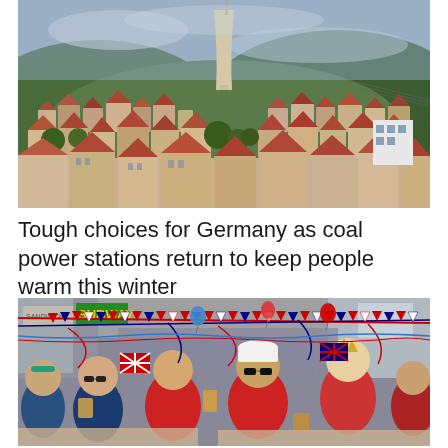[Figure (photo): Aerial view of a German town with residential buildings showing red-tiled roofs, trees, and a large industrial cooling tower in the background against forested hills.]
Tough choices for Germany as coal power stations return to keep people warm this winter
[Figure (photo): Crowd of people celebrating outdoors on a UK street decorated with Union Jack flags, balloons, and bunting. A Subway store is visible in the background. People in red clothes, some wearing Queen masks and crowns, raise drinks and cheer.]